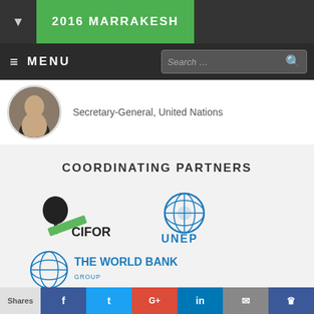2016 MARRAKESH
MENU / Search
Secretary-General, United Nations
COORDINATING PARTNERS
[Figure (logo): CIFOR logo - tree with green slash]
[Figure (logo): UNEP logo - UN emblem in blue with UNEP text]
[Figure (logo): The World Bank logo - globe with text]
[Figure (logo): International Food Policy logo (partial)]
[Figure (logo): CGIT logo (partial)]
Shares | Facebook | Twitter | Google+ | LinkedIn | Email | Bookmark